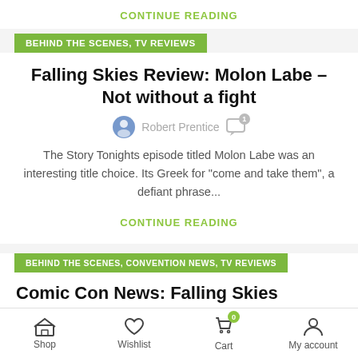CONTINUE READING
BEHIND THE SCENES, TV REVIEWS
Falling Skies Review: Molon Labe – Not without a fight
Robert Prentice
The Story Tonights episode titled Molon Labe was an interesting title choice. Its Greek for "come and take them", a defiant phrase...
CONTINUE READING
BEHIND THE SCENES, CONVENTION NEWS, TV REVIEWS
Comic Con News: Falling Skies Season 3 Secrets Revealed
Shop  Wishlist  Cart  My account